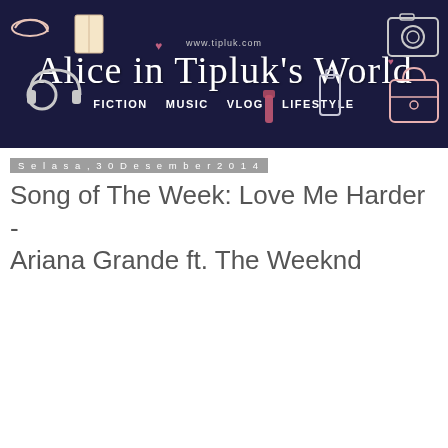[Figure (illustration): Banner header for 'Alice in Tipluk's World' blog with dark navy background, decorative doodles (headphones, shoes, camera, handbag, cosmetics, hearts), cursive title text, URL www.tipluk.com, and navigation items: FICTION, MUSIC, VLOG, LIFESTYLE]
Selasa, 30 Desember 2014
Song of The Week: Love Me Harder - Ariana Grande ft. The Weeknd